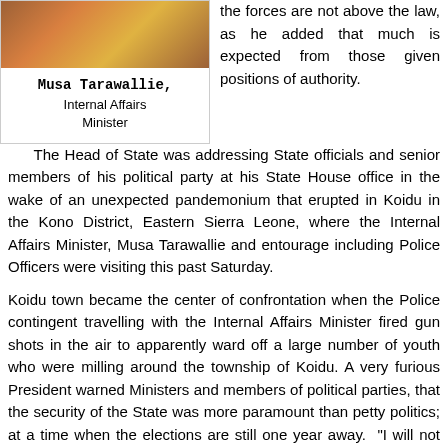[Figure (photo): Partial photo of a person, cropped at top]
Musa Tarawallie, Internal Affairs Minister
the forces are not above the law, as he added that much is expected from those given positions of authority.
The Head of State was addressing State officials and senior members of his political party at his State House office in the wake of an unexpected pandemonium that erupted in Koidu in the Kono District, Eastern Sierra Leone, where the Internal Affairs Minister, Musa Tarawallie and entourage including Police Officers were visiting this past Saturday.
Koidu town became the center of confrontation when the Police contingent travelling with the Internal Affairs Minister fired gun shots in the air to apparently ward off a large number of youth who were milling around the township of Koidu. A very furious President warned Ministers and members of political parties, that the security of the State was more paramount than petty politics; at a time when the elections are still one year away. "I will not seat idly by and allow a handful of